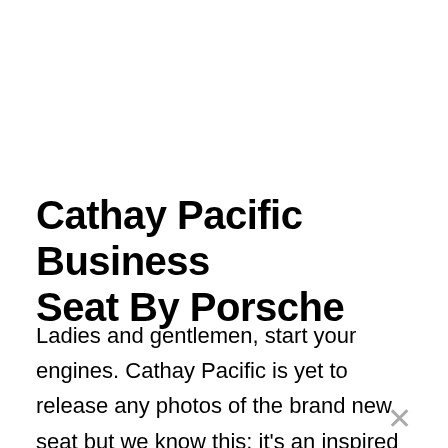Cathay Pacific Business Seat By Porsche
Ladies and gentlemen, start your engines. Cathay Pacific is yet to release any photos of the brand new seat but we know this: it's an inspired revamp of the current award winning seat, not an overhaul. Oh yes, and it's designed by Porsche. I'll expect the same industry leading sleep quality and hopefully a big entertainment screen to keep up with trends. T